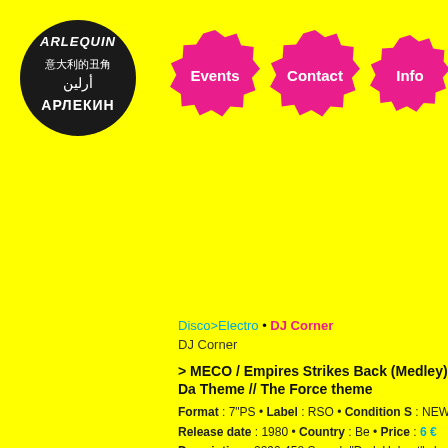[Figure (logo): Arlequin logo: black circle with white multilingual text - ARLEQUIN in stylized font, Chinese characters, Arabic script, and Cyrillic АРЛЕКИН]
Events  Contact  Info
Disco>Electro • DJ Corner
DJ Corner
> MECO / Empires Strikes Back (Medley) Da Theme // The Force theme
Format : 7"PS • Label : RSO • Condition S : NEW
Release date : 1980 • Country : Be • Price : 6 €
Description : 2090 458.Superb "Dark Helmet" sle